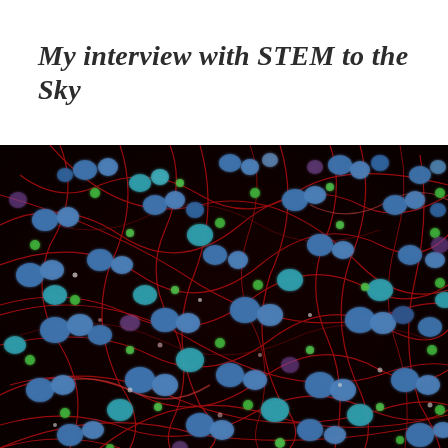My interview with STEM to the Sky
[Figure (photo): Fluorescence microscopy image showing a network of cells with red filamentous structures (cytoskeleton/actin), blue and cyan circular nuclei, and green spots scattered throughout, on a dark background — resembling neural or cellular network imagery.]